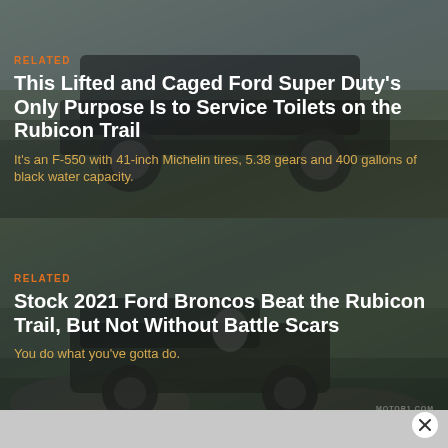[Figure (photo): Lifted and caged Ford Super Duty truck off-road on rocky terrain with mountain background]
RELATED
This Lifted and Caged Ford Super Duty’s Only Purpose Is to Service Toilets on the Rubicon Trail
It’s an F-550 with 41-inch Michelin tires, 5.38 gears and 400 gallons of black water capacity.
[Figure (photo): 2021 Ford Bronco being driven on the Rubicon Trail with person visible inside the open cab]
RELATED
Stock 2021 Ford Broncos Beat the Rubicon Trail, But Not Without Battle Scars
You do what you’ve gotta do.